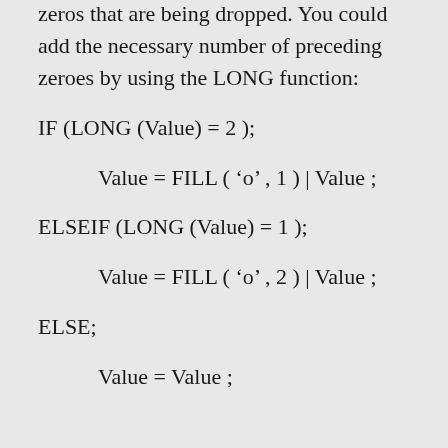zeros that are being dropped. You could add the necessary number of preceding zeroes by using the LONG function:
IF (LONG (Value) = 2 );
Value = FILL ( 'o' , 1 ) | Value ;
ELSEIF (LONG (Value) = 1 );
Value = FILL ( 'o' , 2 ) | Value ;
ELSE;
Value = Value ;